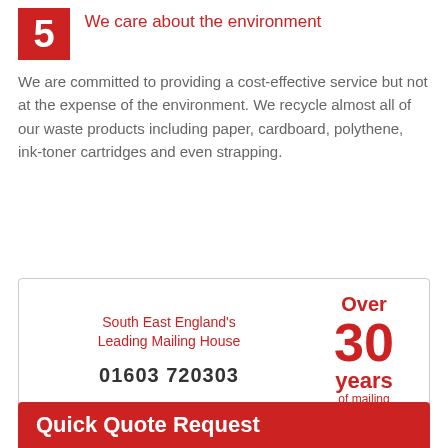We care about the environment
We are committed to providing a cost-effective service but not at the expense of the environment. We recycle almost all of our waste products including paper, cardboard, polythene, ink-toner cartridges and even strapping.
South East England's Leading Mailing House
01603 720303
Over 30 years of mailing
Quick Quote Request